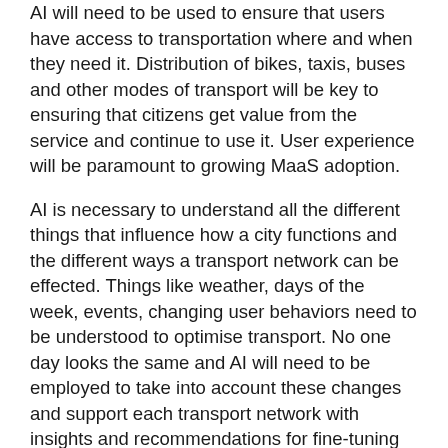AI will need to be used to ensure that users have access to transportation where and when they need it. Distribution of bikes, taxis, buses and other modes of transport will be key to ensuring that citizens get value from the service and continue to use it. User experience will be paramount to growing MaaS adoption.
AI is necessary to understand all the different things that influence how a city functions and the different ways a transport network can be effected. Things like weather, days of the week, events, changing user behaviors need to be understood to optimise transport. No one day looks the same and AI will need to be employed to take into account these changes and support each transport network with insights and recommendations for fine-tuning and distributing bikes, taxis, buses, trains and even unforeseen modes of transport across a city.
AI will be the glue the holds the MaaS together ensuring that it delivers on its promise of an optimal user experience. For example, Bike Share Schemes cannot function if there are no bikes available where they are needed and no docking stations at the end of journey. Bikes must be distributed according to where they are needed, that attracts the most users of a transport network all of